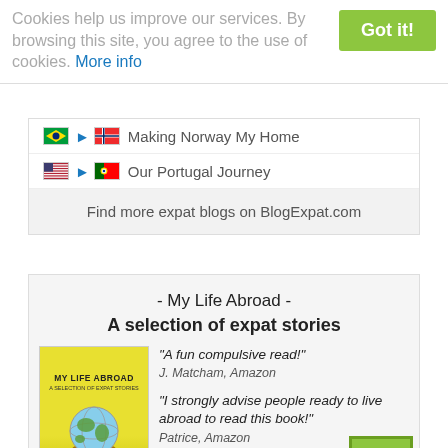Cookies help us improve our services. By browsing this site, you agree to the use of cookies. More info
Making Norway My Home
Our Portugal Journey
Find more expat blogs on BlogExpat.com
- My Life Abroad - A selection of expat stories
[Figure (illustration): Book cover of 'My Life Abroad - A Selection of Expat Stories' with a globe on a suitcase, yellow background]
"A fun compulsive read!" J. Matcham, Amazon
"I strongly advise people ready to live abroad to read this book!" Patrice, Amazon